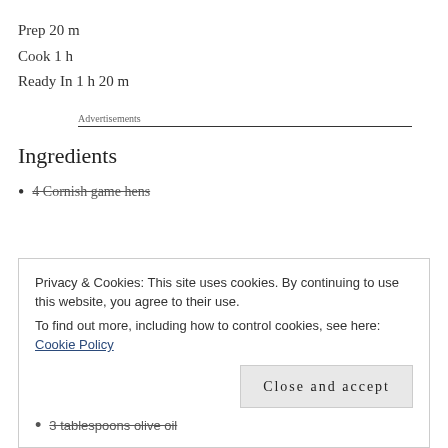Prep 20 m
Cook 1 h
Ready In 1 h 20 m
Advertisements
Ingredients
4 Cornish game hens
Privacy & Cookies: This site uses cookies. By continuing to use this website, you agree to their use.
To find out more, including how to control cookies, see here: Cookie Policy
3 tablespoons olive oil